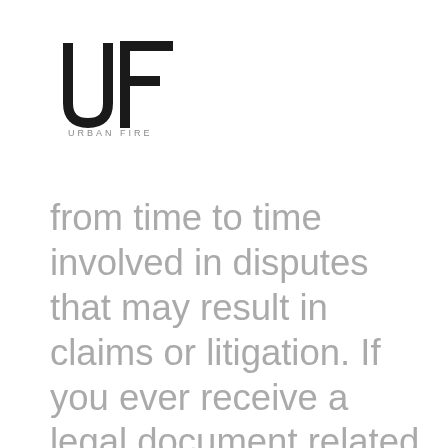[Figure (logo): Urban Fire company logo with stylized UF letterform and text 'URBAN FIRE' below]
from time to time involved in disputes that may result in claims or litigation. If you ever receive a legal document related to the Company, such as a summons, complaint, subpoena or discovery request, whether from a governmental agency or otherwise, you must immediately contact the Law Department to ensure an appropriate and timely response. Do not respond to any request, answer any questions or produce